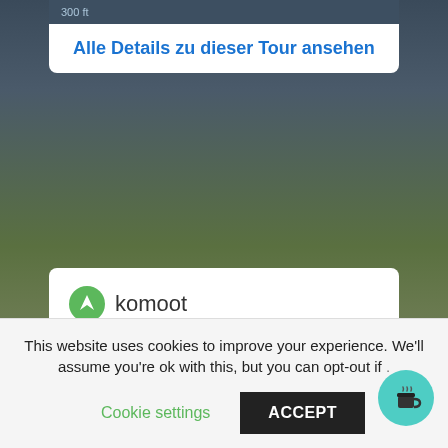[Figure (screenshot): Landscape background photo with mountains and green hills]
300 ft
Alle Details zu dieser Tour ansehen
[Figure (logo): Komoot green logo circle with white mountain/arrow symbol]
Nagymaros, Esztergom bis Komarno, EuroVelo 6 / Donauradweg
07:12  ↔ 54,2 mi  ⊘ 7,5 mi/h
↗ 1 175 ft  ↘ 1 100 ft
This website uses cookies to improve your experience. We'll assume you're ok with this, but you can opt-out if .
Cookie settings
ACCEPT